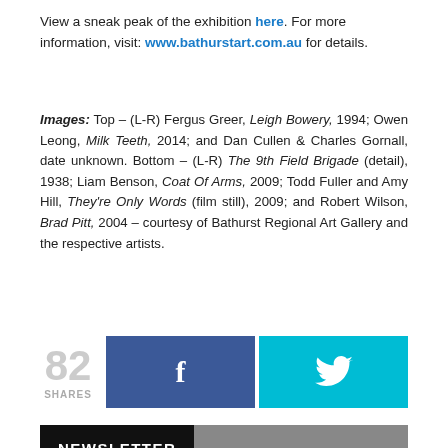View a sneak peak of the exhibition here. For more information, visit: www.bathurstart.com.au for details.
Images: Top – (L-R) Fergus Greer, Leigh Bowery, 1994; Owen Leong, Milk Teeth, 2014; and Dan Cullen & Charles Gornall, date unknown. Bottom – (L-R) The 9th Field Brigade (detail), 1938; Liam Benson, Coat Of Arms, 2009; Todd Fuller and Amy Hill, They're Only Words (film still), 2009; and Robert Wilson, Brad Pitt, 2004 – courtesy of Bathurst Regional Art Gallery and the respective artists.
[Figure (infographic): Social share buttons showing 82 shares, a Facebook share button (dark blue with f icon), and a Twitter share button (cyan with bird icon)]
NEWSLETTER